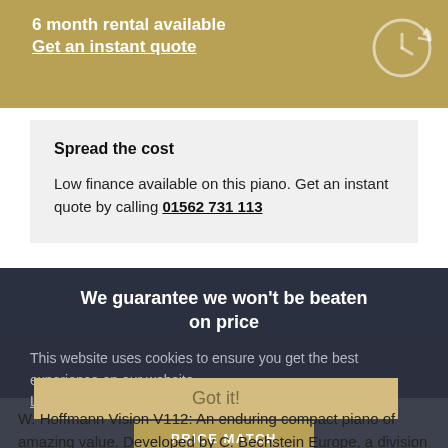6 month rental available
Get an instant quote
Spread the cost
Low finance available on this piano. Get an instant quote by calling 01562 731 113
We guarantee we won't be beaten on price
This website uses cookies to ensure you get the best experience on our website.
Learn more
PRICE MATCH
Got it!
W. Hoffmann Vision V112: An enduring compact piano of amazing value. Developed by C. Bechstein Europe, a division of C. Bechstein Germany, the V112 is a